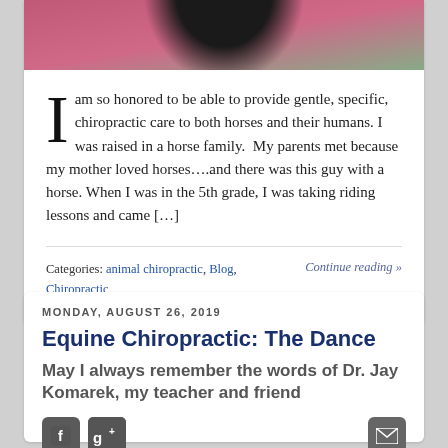[Figure (photo): Partial view of a person in a pink/magenta top with a horse, cropped at top of page]
I am so honored to be able to provide gentle, specific, chiropractic care to both horses and their humans. I was raised in a horse family. My parents met because my mother loved horses….and there was this guy with a horse. When I was in the 5th grade, I was taking riding lessons and came […]
Categories: animal chiropractic, Blog, Chiropractic, Uncategorized
Continue reading »
MONDAY, AUGUST 26, 2019
Equine Chiropractic: The Dance
May I always remember the words of Dr. Jay Komarek, my teacher and friend
[Figure (screenshot): Social share buttons: Facebook (f), Google+ (g+), and email icon]